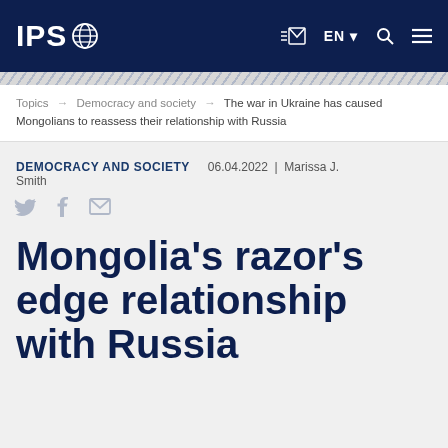IPS
Topics → Democracy and society → The war in Ukraine has caused Mongolians to reassess their relationship with Russia
DEMOCRACY AND SOCIETY   06.04.2022 | Marissa J. Smith
Mongolia's razor's edge relationship with Russia